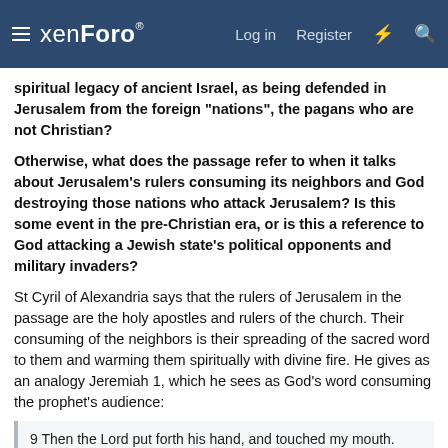xenForo — Log in  Register
spiritual legacy of ancient Israel, as being defended in Jerusalem from the foreign "nations", the pagans who are not Christian?
Otherwise, what does the passage refer to when it talks about Jerusalem's rulers consuming its neighbors and God destroying those nations who attack Jerusalem? Is this some event in the pre-Christian era, or is this a reference to God attacking a Jewish state's political opponents and military invaders?
St Cyril of Alexandria says that the rulers of Jerusalem in the passage are the holy apostles and rulers of the church. Their consuming of the neighbors is their spreading of the sacred word to them and warming them spiritually with divine fire. He gives as an analogy Jeremiah 1, which he sees as God's word consuming the prophet's audience:
9 Then the Lord put forth his hand, and touched my mouth. And the